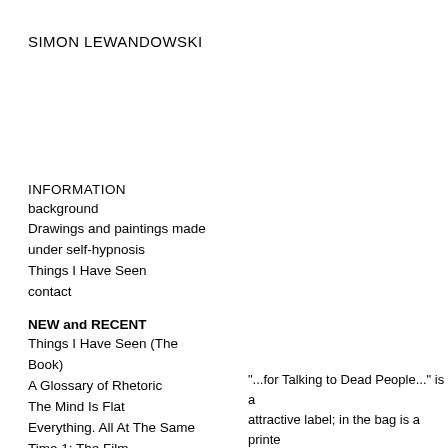SIMON LEWANDOWSKI
INFORMATION
background
Drawings and paintings made under self-hypnosis
Things I Have Seen
contact
NEW and RECENT
Things I Have Seen (The Book)
A Glossary of Rhetoric
The Mind Is Flat
Everything. All At The Same Time 1: The Film
a ciascuno il suo
a ciascuno il suo pictures
Your Voice Will Follow You
Vexations
"...for Talking to Dead People..." is a attractive label; in the bag is a printe It was made by a specialist factory i